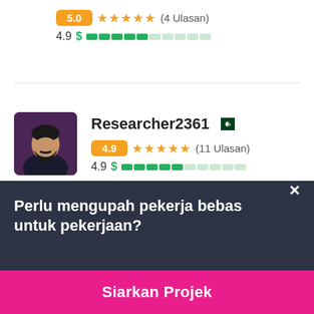5.0 ★★★★★ (4 Ulasan)
4.9 $ ████░░░░░░
[Figure (photo): Profile photo of Researcher2361, a man with dark beard against dark background]
Researcher2361
4.9 ★★★★★ (11 Ulasan)
4.9 $ ████░░░░░░
Perlu mengupah pekerja bebas untuk pekerjaan?
Siarkan Projek